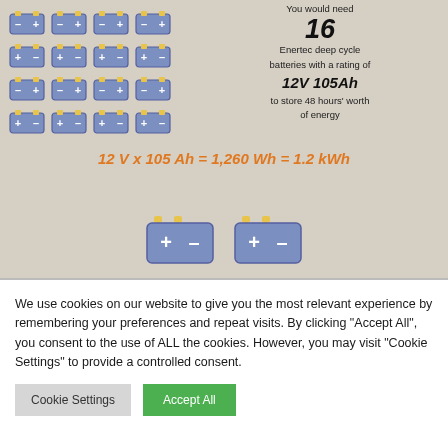[Figure (infographic): Grid of 16 battery icons arranged in 4 rows of 4, shown on a beige background, with text indicating 16 Enertec deep cycle batteries at 12V 105Ah to store 48 hours worth of energy, and formula 12V x 105Ah = 1,260Wh = 1.2kWh, plus two larger battery icons at the bottom]
We use cookies on our website to give you the most relevant experience by remembering your preferences and repeat visits. By clicking "Accept All", you consent to the use of ALL the cookies. However, you may visit "Cookie Settings" to provide a controlled consent.
Cookie Settings
Accept All